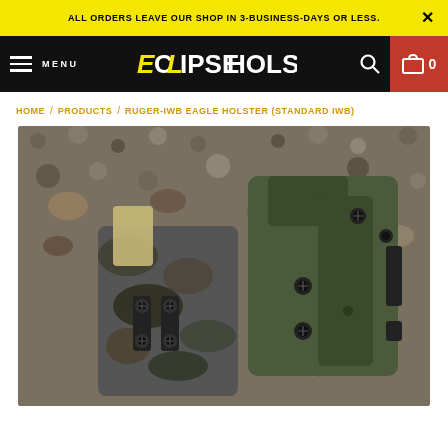ALL ORDERS LEAVE OUR SHOP IN 3-BUSINESS-DAYS OR LESS.
[Figure (logo): Eclipse Holsters logo in white and yellow text on black navigation bar]
HOME / PRODUCTS / RUGER-IWB EAGLE HOLSTER (STANDARD IWB)
[Figure (photo): Two holsters lying on gravel — one camouflage patterned (left) and one olive/green (right), both with black hardware clips and screws, photographed from above]